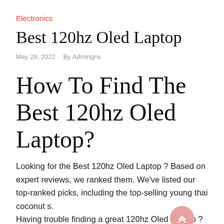Electronics
Best 120hz Oled Laptop
May 28, 2022   By Admingns
How To Find The Best 120hz Oled Laptop?
Looking for the Best 120hz Oled Laptop ? Based on expert reviews, we ranked them. We've listed our top-ranked picks, including the top-selling young thai coconut s.
Having trouble finding a great 120hz Oled Laptop ? This problem is well understood by us because we